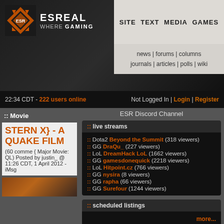ESREALITY - WHERE GAMING BEGINS
SITE | TEXT | MEDIA | GAMES | news | forums | columns | journals | articles | polls | wiki
22:34 CDT - 222 users online | Not Logged In | Login | Register
ESR Discord Channel
:: live streams
:: Dota2 Beyond the Summit (318 viewers)
:: GG DraQu_ (227 viewers)
:: LoL DreamHack LoL (1662 viewers)
:: GG gamesdonequick (2218 viewers)
:: LoL Hitpoint.cz (766 viewers)
:: GG nysira (8 viewers)
:: GG rapha (66 viewers)
:: GG Surefour (1244 viewers)
:: scheduled listings
more...
:: other movie
:: satellite (ft. purrz) by movezie (1)
:: Movie
STERM X} - A QUAKE FILM
(60 comments) { Major Movie: QL) Posted by justin_ @ 11:26 CDT, 1 April 2012 - iMsg